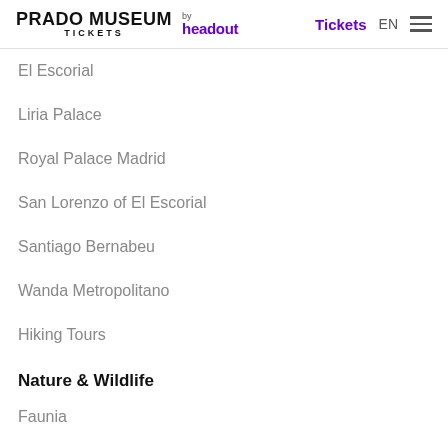PRADO MUSEUM TICKETS by headout | Tickets EN
El Escorial
Liria Palace
Royal Palace Madrid
San Lorenzo of El Escorial
Santiago Bernabeu
Wanda Metropolitano
Hiking Tours
Nature & Wildlife
Faunia
Madrid Aquarium Zoo
Atlantis Aquarium